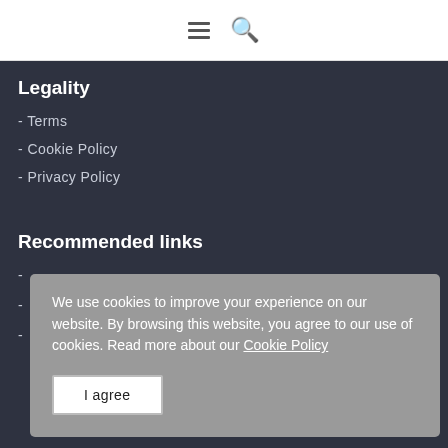Menu and Search icons
Legality
- Terms
- Cookie Policy
- Privacy Policy
Recommended links
-
-
-
We use cookies to improve your experience on our website. By browsing this website, you agree to our use of cookies. Read more about our Cookie Policy
I agree
Contact